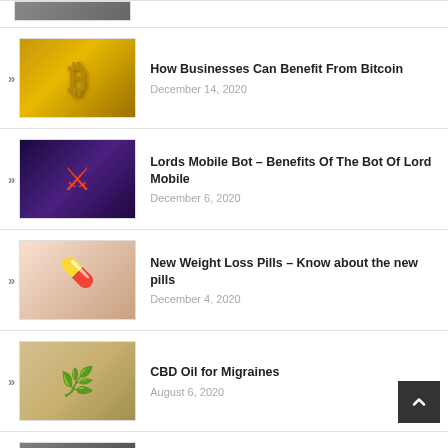[Figure (photo): Partial image at top of page, cropped]
How Businesses Can Benefit From Bitcoin — December 14, 2020
Lords Mobile Bot – Benefits Of The Bot Of Lord Mobile — December 6, 2020
New Weight Loss Pills – Know about the new pills — December 4, 2020
CBD Oil for Migraines — August 6, 2020
Things That You Should About Your Pet Chinchilla — May 23, 2020